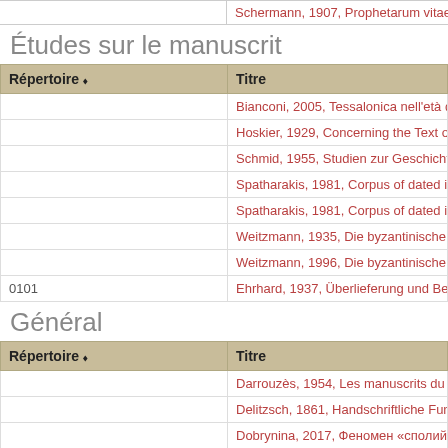| Répertoire | Titre |
| --- | --- |
|  | Schermann, 1907, Prophetarum vitae fabulosae. Indic… |
Études sur le manuscrit
| Répertoire | Titre |
| --- | --- |
|  | Bianconi, 2005, Tessalonica nell'età dei Paleologi. Le… |
|  | Hoskier, 1929, Concerning the Text of the Apocalypse… |
|  | Schmid, 1955, Studien zur Geschichte des griechisch… |
|  | Spatharakis, 1981, Corpus of dated illuminated greek… |
|  | Spatharakis, 1981, Corpus of dated illuminated greek… |
|  | Weitzmann, 1935, Die byzantinische Buchmalerei des… |
|  | Weitzmann, 1996, Die byzantinische Buchmalerei des… |
| 0101 | Ehrhard, 1937, Überlieferung und Bestand der hagiog… |
Général
| Répertoire | Titre |
| --- | --- |
|  | Darrouzès, 1954, Les manuscrits du monastère Saint… |
|  | Delitzsch, 1861, Handschriftliche Funde |
|  | Dobrynina, 2017, Феномен «сполий» в истории руко… |
|  | Dobrynina, 2018, "Spolia" as a Phenomenon in Greek… |
|  | Džurova, 2011, Le rayonnement de Byzance. Les ma… |